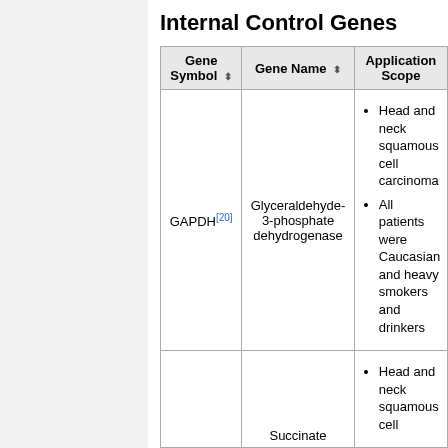Internal Control Genes
| Gene Symbol | Gene Name | Application Scope |
| --- | --- | --- |
| GAPDH[20] | Glyceraldehyde-3-phosphate dehydrogenase | Head and neck squamous cell carcinoma; All patients were Caucasian and heavy smokers and drinkers |
|  | Succinate | Head and neck squamous cell |
Top ↑